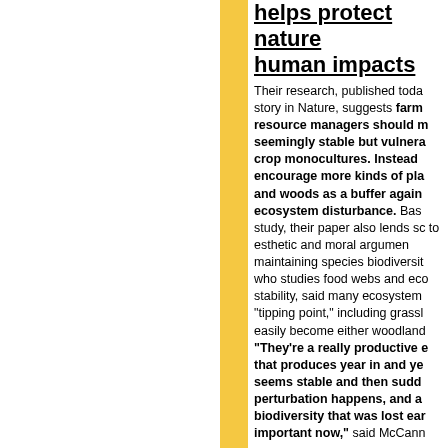helps protect nature human impacts
Their research, published toda story in Nature, suggests farmers resource managers should m seemingly stable but vulnera crop monocultures. Instead encourage more kinds of pla and woods as a buffer again ecosystem disturbance. Base study, their paper also lends sc to esthetic and moral argumen maintaining species biodiversit who studies food webs and eco stability, said many ecosystem "tipping point," including grassl easily become either woodland "They're a really productive e that produces year in and ye seems stable and then sudd perturbation happens, and a biodiversity that was lost ear important now," said McCann
Tue, Jan 29, 2013
from Essex Chronicle:
Writtle College aim